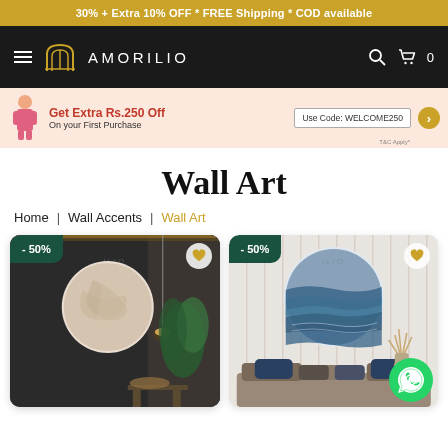30% + Extra 10% OFF * FREE Shipping * COD available
[Figure (logo): Amorilio brand logo with arch icon and navigation bar on dark background with search and cart icons]
[Figure (infographic): Promotional banner: Get Extra Rs.250 Off On your First Purchase, Use Code: WELCOME250, with woman figure in pink]
Wall Art
Home | Wall Accents | Wall Art
[Figure (photo): Wall art product card showing circular abstract wall art hanging in dark interior room with plants, -50% discount badge]
[Figure (photo): Wall art product card showing circular blue ocean/water wall art in light interior with pillows, -50% discount badge, WhatsApp contact button]